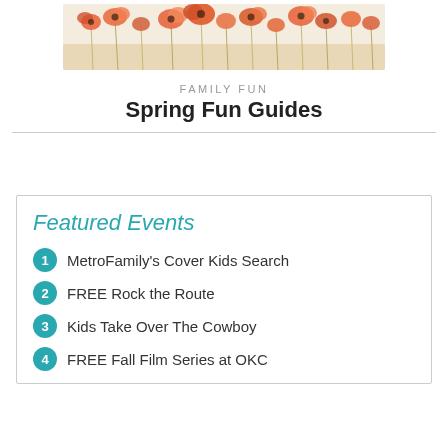[Figure (photo): Poppy flower field banner image with orange/red poppies on light background]
FAMILY FUN
Spring Fun Guides
Featured Events
MetroFamily's Cover Kids Search
FREE Rock the Route
Kids Take Over The Cowboy
FREE Fall Film Series at OKC